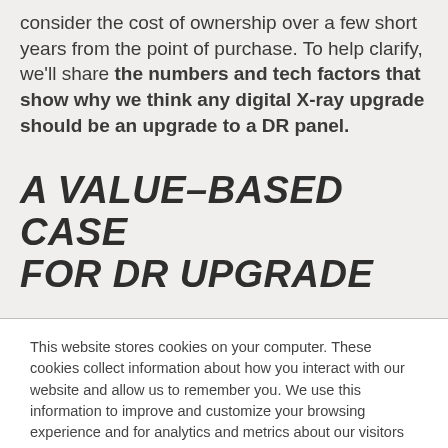consider the cost of ownership over a few short years from the point of purchase. To help clarify, we'll share the numbers and tech factors that show why we think any digital X-ray upgrade should be an upgrade to a DR panel.
A VALUE-BASED CASE FOR DR UPGRADE
This website stores cookies on your computer. These cookies collect information about how you interact with our website and allow us to remember you. We use this information to improve and customize your browsing experience and for analytics and metrics about our visitors on this website and other media. To find out more about these cookies, see our Privacy Policy